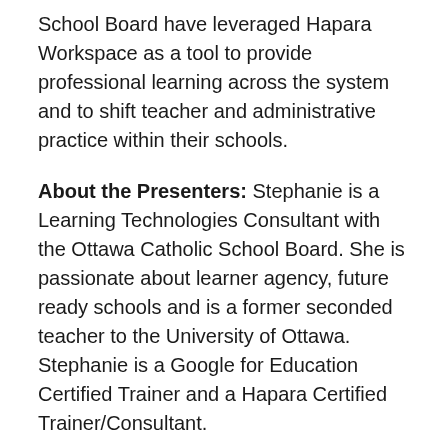School Board have leveraged Hapara Workspace as a tool to provide professional learning across the system and to shift teacher and administrative practice within their schools.
About the Presenters: Stephanie is a Learning Technologies Consultant with the Ottawa Catholic School Board. She is passionate about learner agency, future ready schools and is a former seconded teacher to the University of Ottawa. Stephanie is a Google for Education Certified Trainer and a Hapara Certified Trainer/Consultant.
Bill is a Learning Technologies Coordinator (K-12) with the Ottawa...